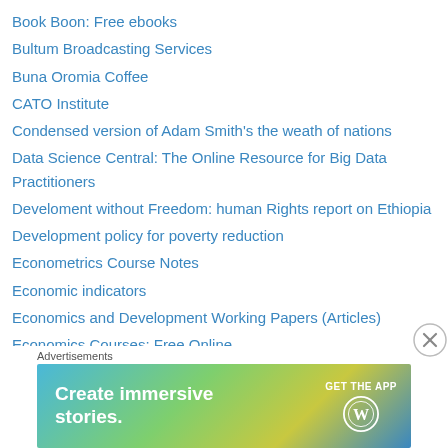Book Boon: Free ebooks
Bultum Broadcasting Services
Buna Oromia Coffee
CATO Institute
Condensed version of Adam Smith's the weath of nations
Data Science Central: The Online Resource for Big Data Practitioners
Develoment without Freedom: human Rights report on Ethiopia
Development policy for poverty reduction
Econometrics Course Notes
Economic indicators
Economics and Development Working Papers (Articles)
Economics Courses: Free Online
Economics e-journals
Economics youtube liknks
Economics: Definitions
Economics: the light and fruits debate
[Figure (screenshot): Advertisement banner: 'Create immersive stories. GET THE APP' with WordPress logo, on a gradient blue-green-yellow background. Close button (X) in circle at top right of ad area.]